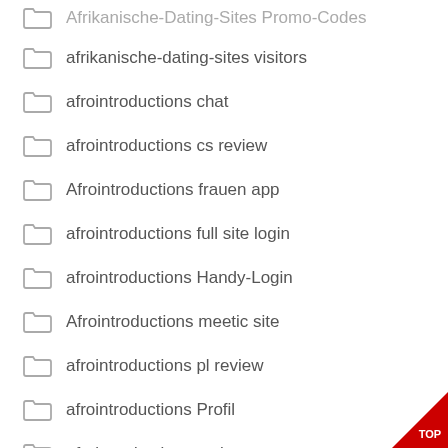Afrikanische-Dating-Sites Promo Codes
afrikanische-dating-sites visitors
afrointroductions chat
afrointroductions cs review
Afrointroductions frauen app
afrointroductions full site login
afrointroductions Handy-Login
Afrointroductions meetic site
afrointroductions pl review
afrointroductions Profil
afrointroductions review
afrointroductions seiten